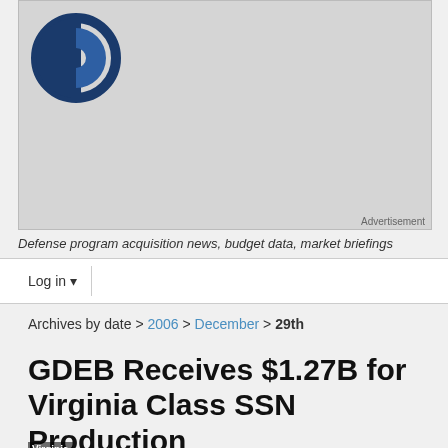[Figure (logo): Circular logo with vertical bar inside a circle outline, dark navy blue, resembling a defense/intelligence organization emblem]
Advertisement
Defense program acquisition news, budget data, market briefings
Log in
Archives by date > 2006 > December > 29th
GDEB Receives $1.27B for Virginia Class SSN Production